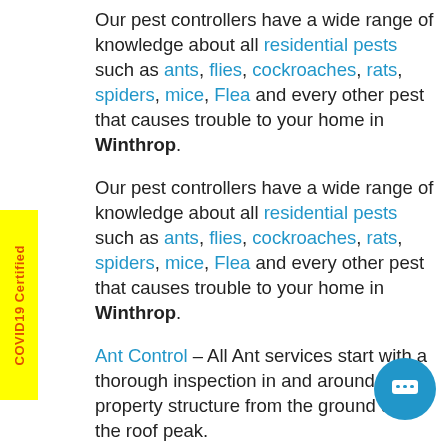Our pest controllers have a wide range of knowledge about all residential pests such as ants, flies, cockroaches, rats, spiders, mice, Flea and every other pest that causes trouble to your home in Winthrop.
Our pest controllers have a wide range of knowledge about all residential pests such as ants, flies, cockroaches, rats, spiders, mice, Flea and every other pest that causes trouble to your home in Winthrop.
Ant Control – All Ant services start with a thorough inspection in and around the property structure from the ground up to the roof peak.
Cockroach Control – Cockroach control from Chambers Pest Solutions is the only